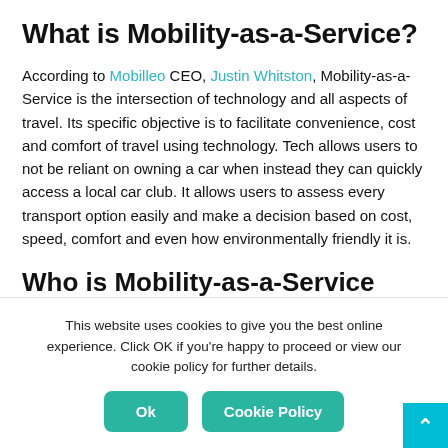What is Mobility-as-a-Service?
According to Mobilleo CEO, Justin Whitston, Mobility-as-a-Service is the intersection of technology and all aspects of travel. Its specific objective is to facilitate convenience, cost and comfort of travel using technology. Tech allows users to not be reliant on owning a car when instead they can quickly access a local car club. It allows users to assess every transport option easily and make a decision based on cost, speed, comfort and even how environmentally friendly it is.
Who is Mobility-as-a-Service for?
This website uses cookies to give you the best online experience. Click OK if you're happy to proceed or view our cookie policy for further details.